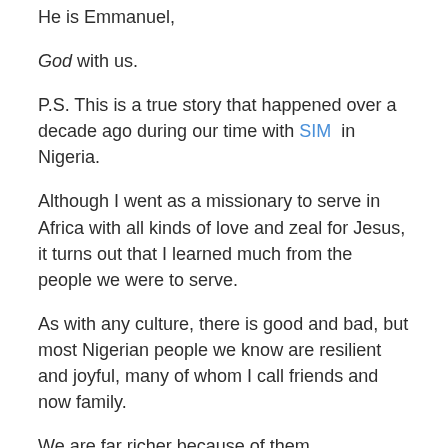He is Emmanuel,
God with us.
P.S. This is a true story that happened over a decade ago during our time with SIM in Nigeria.
Although I went as a missionary to serve in Africa with all kinds of love and zeal for Jesus, it turns out that I learned much from the people we were to serve.
As with any culture, there is good and bad, but most Nigerian people we know are resilient and joyful, many of whom I call friends and now family.
We are far richer because of them.
Read the entire story of Lazarus here.